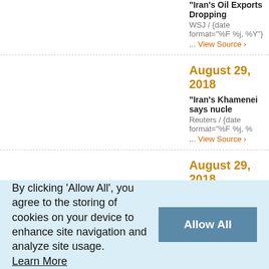"Iran's Oil Exports Dropping
WSJ / {date format="%F %j, %Y"}
... View Source ›
August 29, 2018
"Iran's Khamenei says nucle
Reuters / {date format="%F %j, %
... View Source ›
August 29, 2018
"Nikki Haley Warns That Iran
Atlantic / {date format="%F %j, %
... View Source ›
By clicking 'Allow All', you agree to the storing of cookies on your device to enhance site navigation and analyze site usage.
Learn More